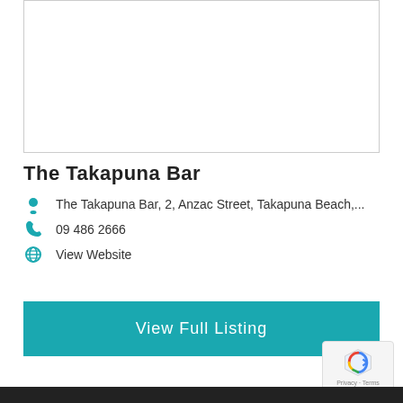[Figure (photo): Placeholder image area for The Takapuna Bar]
The Takapuna Bar
The Takapuna Bar, 2, Anzac Street, Takapuna Beach,...
09 486 2666
View Website
View Full Listing